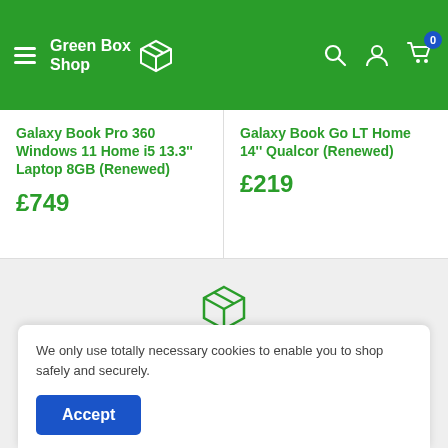Green Box Shop
Galaxy Book Pro 360 Windows 11 Home i5 13.3'' Laptop 8GB (Renewed)
£749
Galaxy Book Go LT Home 14'' Qualcom (Renewed)
£219
[Figure (illustration): Green outline box/package icon representing delivery]
Speedy UK Delivery
We only use totally necessary cookies to enable you to shop safely and securely.
Accept
Warranty